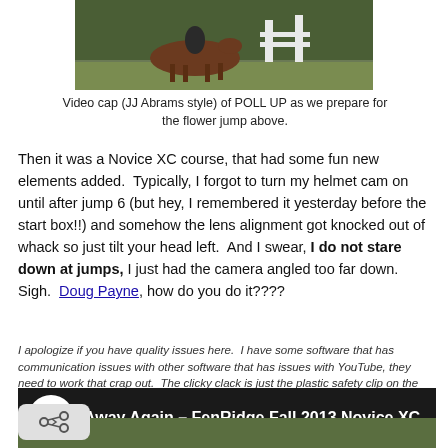[Figure (photo): Video screenshot/cap of a horse and rider approaching a flower jump obstacle]
Video cap (JJ Abrams style) of POLL UP as we prepare for the flower jump above.
Then it was a Novice XC course, that had some fun new elements added.  Typically, I forgot to turn my helmet cam on until after jump 6 (but hey, I remembered it yesterday before the start box!!) and somehow the lens alignment got knocked out of whack so just tilt your head left.  And I swear, I do not stare down at jumps, I just had the camera angled too far down.  Sigh.  Doug Payne, how do you do it????
I apologize if you have quality issues here.  I have some software that has communication issues with other software that has issues with YouTube, they need to work that crap out.  The clicky clack is just the plastic safety clip on the camera hitting my helmet.
[Figure (screenshot): YouTube video thumbnail for 'Away Again – FenRidge Fall 2013 Novice XC' with equestrian logo]